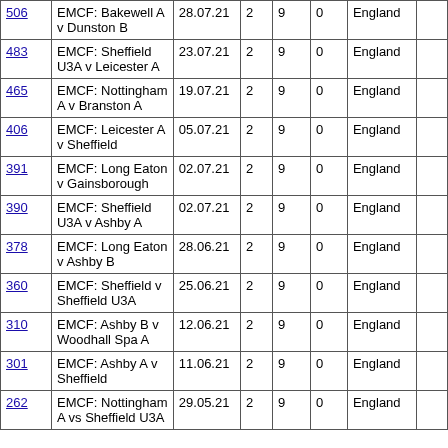| 506 | EMCF: Bakewell A v Dunston B | 28.07.21 | 2 | 9 | 0 | England |  |
| 483 | EMCF: Sheffield U3A v Leicester A | 23.07.21 | 2 | 9 | 0 | England |  |
| 465 | EMCF: Nottingham A v Branston A | 19.07.21 | 2 | 9 | 0 | England |  |
| 406 | EMCF: Leicester A v Sheffield | 05.07.21 | 2 | 9 | 0 | England |  |
| 391 | EMCF: Long Eaton v Gainsborough | 02.07.21 | 2 | 9 | 0 | England |  |
| 390 | EMCF: Sheffield U3A v Ashby A | 02.07.21 | 2 | 9 | 0 | England |  |
| 378 | EMCF: Long Eaton v Ashby B | 28.06.21 | 2 | 9 | 0 | England |  |
| 360 | EMCF: Sheffield v Sheffield U3A | 25.06.21 | 2 | 9 | 0 | England |  |
| 310 | EMCF: Ashby B v Woodhall Spa A | 12.06.21 | 2 | 9 | 0 | England |  |
| 301 | EMCF: Ashby A v Sheffield | 11.06.21 | 2 | 9 | 0 | England |  |
| 262 | EMCF: Nottingham A vs Sheffield U3A | 29.05.21 | 2 | 9 | 0 | England |  |